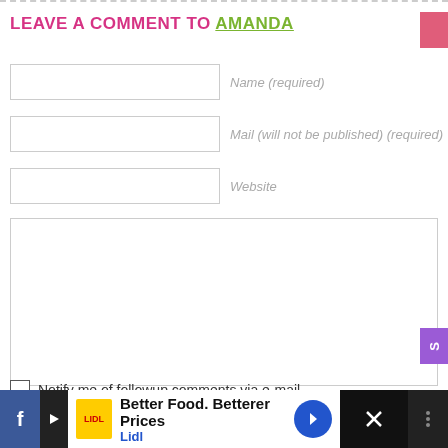LEAVE A COMMENT TO AMANDA
Name (required)
Mail (will not be published) (required)
Website
Notify me of followup comments via e-mail
[Figure (screenshot): Advertisement banner: Lidl - Better Food. Betterer Prices]